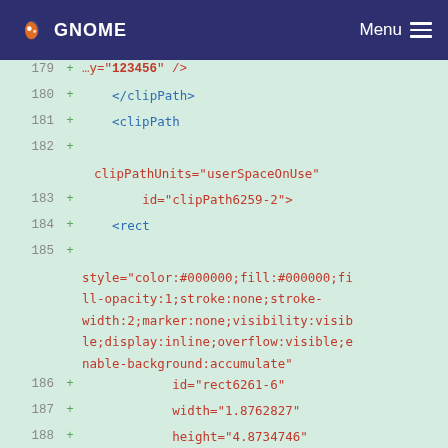GNOME   Menu
[Figure (screenshot): Code diff view showing XML/SVG snippet with line numbers 179-193, green background indicating added lines, with tags in blue and attribute values in red.]